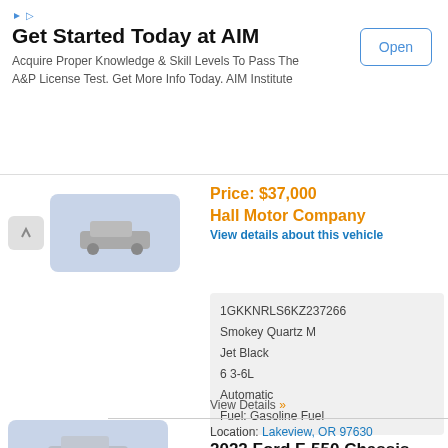[Figure (infographic): Advertisement banner for AIM Institute with Open button]
Get Started Today at AIM
Acquire Proper Knowledge & Skill Levels To Pass The A&P License Test. Get More Info Today. AIM Institute
Price: $37,000
Hall Motor Company
View details about this vehicle
1GKKNRLS6KZ237266
Smokey Quartz M
Jet Black
6 3-6L
Automatic
Fuel: Gasoline Fuel
View Details »
Location: Lakeview, OR 97630
2022 Ford F-550 Chassis